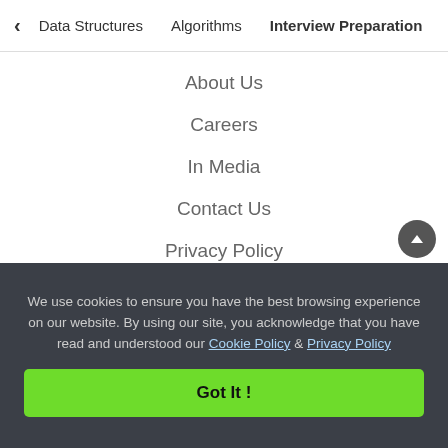< Data Structures   Algorithms   Interview Preparation   To>
About Us
Careers
In Media
Contact Us
Privacy Policy
Copyright Policy
Learn
Algorithms
We use cookies to ensure you have the best browsing experience on our website. By using our site, you acknowledge that you have read and understood our Cookie Policy & Privacy Policy
Got It !